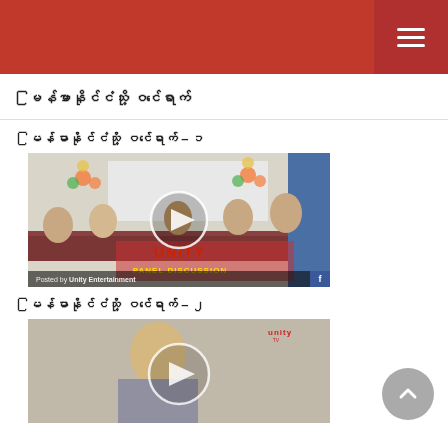မြန်မာနိုင်ငံသို့ ဝင်ရောက်
မြန်မာနိုင်ငံသို့ ဝင်ရောက် – ၁
[Figure (photo): Video thumbnail showing a Unity Panel Discussion with people seated around a table in a decorated room. Posted by Unity Entertainment on Facebook. Play button overlay visible.]
မြန်မာနိုင်ငံသို့ ဝင်ရောက် – ၂
[Figure (photo): Video thumbnail showing a man in a grey shirt with Unity TV logo. Play button overlay visible.]